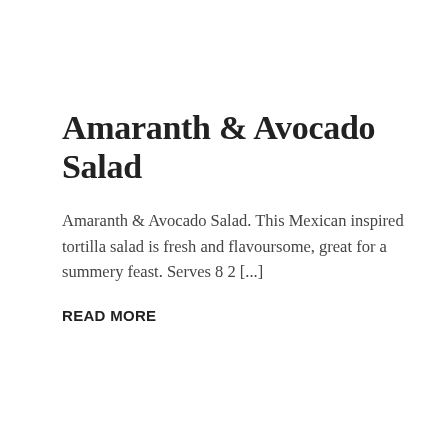Amaranth & Avocado Salad
Amaranth & Avocado Salad. This Mexican inspired tortilla salad is fresh and flavoursome, great for a summery feast. Serves 8 2 [...]
READ MORE